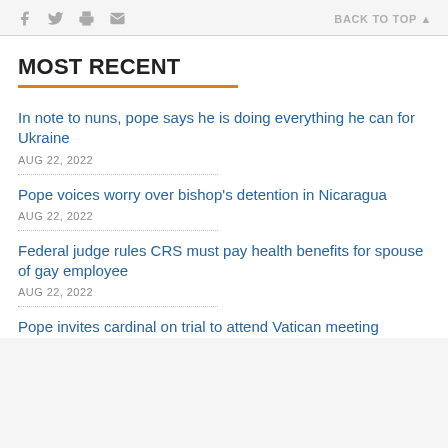f [twitter] [print] [email]    BACK TO TOP ▲
MOST RECENT
In note to nuns, pope says he is doing everything he can for Ukraine
AUG 22, 2022
Pope voices worry over bishop's detention in Nicaragua
AUG 22, 2022
Federal judge rules CRS must pay health benefits for spouse of gay employee
AUG 22, 2022
Pope invites cardinal on trial to attend Vatican meeting